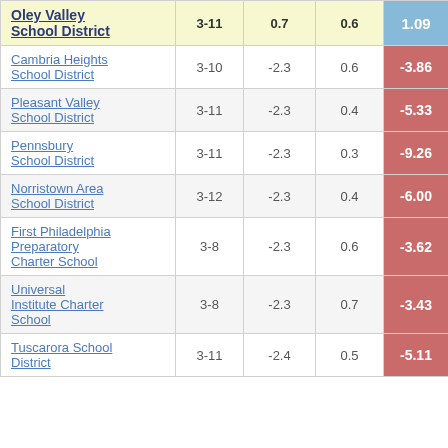|  |  |  |  |  |
| --- | --- | --- | --- | --- |
| Oley Valley School District | 3-11 | 0.7 | 0.6 | 1.09 |
| Cambria Heights School District | 3-10 | -2.3 | 0.6 | -3.86 |
| Pleasant Valley School District | 3-11 | -2.3 | 0.4 | -5.33 |
| Pennsbury School District | 3-11 | -2.3 | 0.3 | -9.26 |
| Norristown Area School District | 3-12 | -2.3 | 0.4 | -6.00 |
| First Philadelphia Preparatory Charter School | 3-8 | -2.3 | 0.6 | -3.62 |
| Universal Institute Charter School | 3-8 | -2.3 | 0.7 | -3.43 |
| Tuscarora School District | 3-11 | -2.4 | 0.5 | -5.11 |